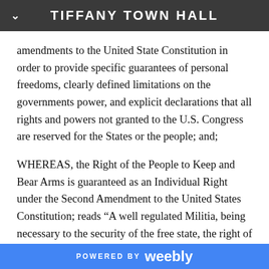TIFFANY TOWN HALL
amendments to the United State Constitution in order to provide specific guarantees of personal freedoms, clearly defined limitations on the governments power, and explicit declarations that all rights and powers not granted to the U.S. Congress are reserved for the States or the people; and;
WHEREAS, the Right of the People to Keep and Bear Arms is guaranteed as an Individual Right under the Second Amendment to the United States Constitution; reads “A well regulated Militia, being necessary to the security of the free state, the right of the people to keep and bear arms, shall not be infringed;” and under the
POWERED BY weebly